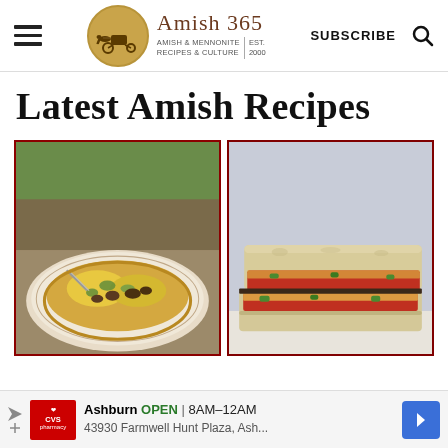Amish 365 — AMISH & MENNONITE RECIPES & CULTURE | EST. 2000 | SUBSCRIBE
Latest Amish Recipes
[Figure (photo): Close-up of a flatbread or pizza-style dish with scrambled eggs, sausage, and zucchini on a decorative plate, outdoors]
[Figure (photo): Close-up of two flatbread sandwiches with red tomato sauce, melted cheese, and green peppers on a light surface]
Ashburn OPEN 8AM–12AM 43930 Farmwell Hunt Plaza, Ash...